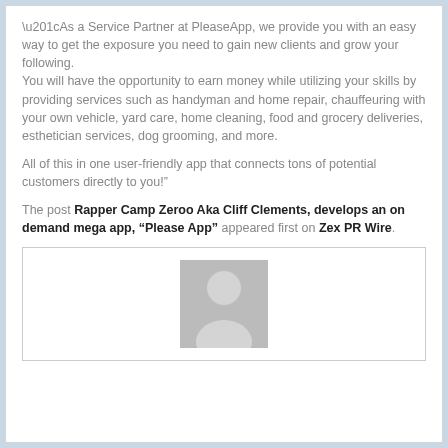“As a Service Partner at PleaseApp, we provide you with an easy way to get the exposure you need to gain new clients and grow your following.
You will have the opportunity to earn money while utilizing your skills by providing services such as handyman and home repair, chauffeuring with your own vehicle, yard care, home cleaning, food and grocery deliveries, esthetician services, dog grooming, and more.
All of this in one user-friendly app that connects tons of potential customers directly to you!”
The post Rapper Camp Zeroo Aka Cliff Clements, develops an on demand mega app, “Please App” appeared first on Zex PR Wire.
[Figure (photo): A placeholder avatar image showing a grey silhouette of a person (head and shoulders) on a grey background, centered inside a white bordered box.]